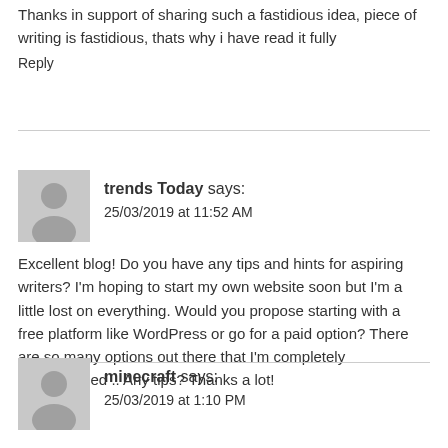Thanks in support of sharing such a fastidious idea, piece of writing is fastidious, thats why i have read it fully
Reply
trends Today says:
25/03/2019 at 11:52 AM
Excellent blog! Do you have any tips and hints for aspiring writers? I'm hoping to start my own website soon but I'm a little lost on everything. Would you propose starting with a free platform like WordPress or go for a paid option? There are so many options out there that I'm completely overwhelmed .. Any tips? Thanks a lot!
Reply
minecraft says:
25/03/2019 at 1:10 PM